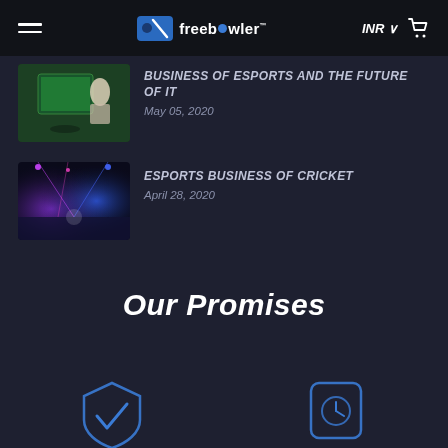freebowler — INR — cart
BUSINESS OF ESPORTS AND THE FUTURE OF IT — May 05, 2020
ESPORTS BUSINESS OF CRICKET — April 28, 2020
Our Promises
[Figure (illustration): Two partial blue shield/badge icons visible at the bottom of the page]